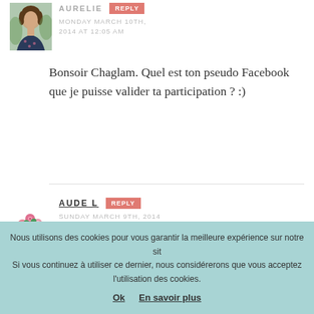[Figure (photo): Avatar photo of Aurelie, a woman in a dark floral top, outdoors]
AURELIE
REPLY
MONDAY MARCH 10TH, 2014 AT 12:05 AM
Bonsoir Chaglam. Quel est ton pseudo Facebook que je puisse valider ta participation ? :)
[Figure (illustration): Bouquet of flowers illustration used as avatar for Aude L]
AUDE L
REPLY
SUNDAY MARCH 9TH, 2014 AT 11:36 PM
Bonsoir
Nous utilisons des cookies pour vous garantir la meilleure expérience sur notre site. Si vous continuez à utiliser ce dernier, nous considérerons que vous acceptez l'utilisation des cookies.
Ok  En savoir plus